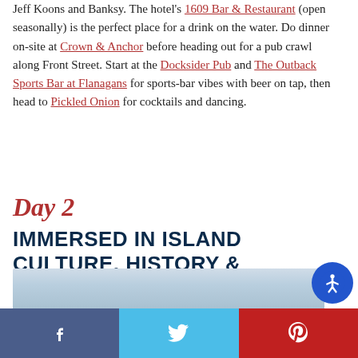Jeff Koons and Banksy. The hotel's 1609 Bar & Restaurant (open seasonally) is the perfect place for a drink on the water. Do dinner on-site at Crown & Anchor before heading out for a pub crawl along Front Street. Start at the Docksider Pub and The Outback Sports Bar at Flanagans for sports-bar vibes with beer on tap, then head to Pickled Onion for cocktails and dancing.
Day 2
IMMERSED IN ISLAND CULTURE, HISTORY & MYSTERY
[Figure (photo): Partial photo strip showing a misty/hazy sky and water scene]